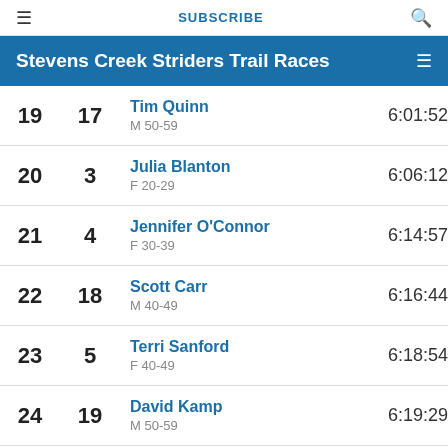≡   SUBSCRIBE   🔍
Stevens Creek Striders Trail Races
| Overall | Bib | Name / Category | Time |
| --- | --- | --- | --- |
| 19 | 17 | Tim Quinn
M 50-59 | 6:01:52 |
| 20 | 3 | Julia Blanton
F 20-29 | 6:06:12 |
| 21 | 4 | Jennifer O'Connor
F 30-39 | 6:14:57 |
| 22 | 18 | Scott Carr
M 40-49 | 6:16:44 |
| 23 | 5 | Terri Sanford
F 40-49 | 6:18:54 |
| 24 | 19 | David Kamp
M 50-59 | 6:19:29 |